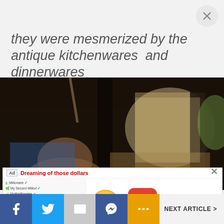they were mesmerized by the antique kitchenwares  and dinnerwares
[Figure (photo): Photo of people inside a rustic wooden structure looking out toward a bright outdoor scene with debris and greenery visible]
[Figure (screenshot): Ad banner for BitLife - Life Simulator app showing a smiley emoji, app icon, title 'BitLife - Life Simulator', and an Install! button. Ad header reads 'Dreaming of those dollars'.]
NEXT ARTICLE >